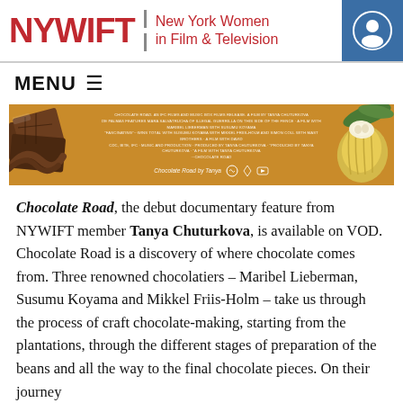NYWIFT | New York Women in Film & Television
[Figure (screenshot): Chocolate Road documentary film banner with golden/orange background, chocolate pieces on the left, a cacao pod on the right, and small credits text in the center]
Chocolate Road, the debut documentary feature from NYWIFT member Tanya Chuturkova, is available on VOD. Chocolate Road is a discovery of where chocolate comes from. Three renowned chocolatiers – Maribel Lieberman, Susumu Koyama and Mikkel Friis-Holm – take us through the process of craft chocolate-making, starting from the plantations, through the different stages of preparation of the beans and all the way to the final chocolate pieces. On their journey